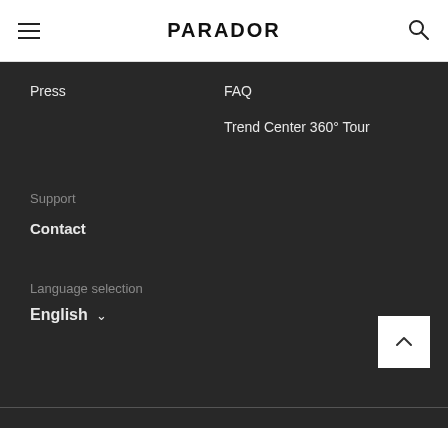PARADOR
Press
FAQ
Trend Center 360° Tour
Support
Contact
Language selection
English